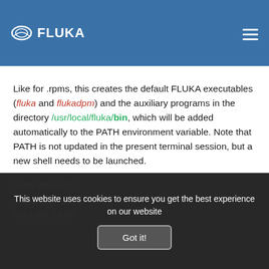FLUKA
Like for .rpms, this creates the default FLUKA executables (fluka and flukadpm) and the auxiliary programs in the directory /usr/local/fluka/bin, which will be added automatically to the PATH environment variable. Note that PATH is not updated in the present terminal session, but a new shell needs to be launched.
This website uses cookies to ensure you get the best experience on our website
Got it!
DATA PRIVACY
Privacy Notice Use
FOLLOW CERN